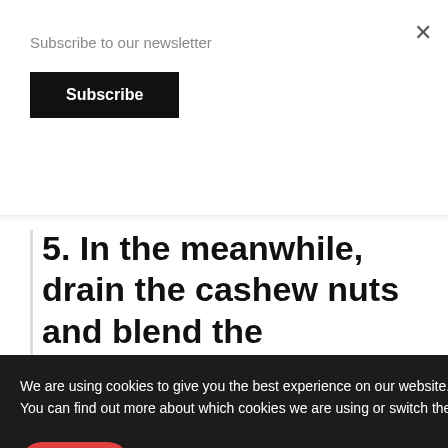Subscribe to our newsletter
Subscribe
×
5. In the meanwhile, drain the cashew nuts and blend the [broth. It should be] creamy [and smooth. You may need to add] milk to blend it easily but do not exceed. Scrape from a[t sides] at intervals and press the
We are using cookies to give you the best experience on our website.
You can find out more about which cookies we are using or switch them off in settings.
Accept
38
WHAT'S NEXT → Vegan Red Velvet Cookies